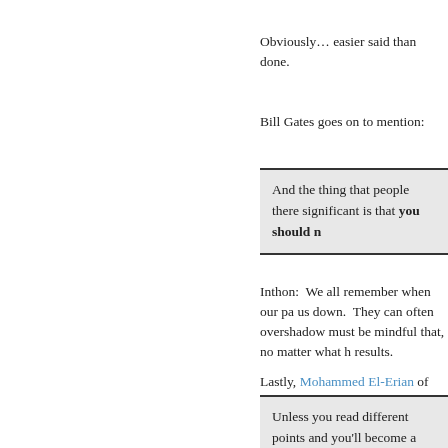Obviously… easier said than done.
Bill Gates goes on to mention:
And the thing that people there significant is that you should n
Inthon: We all remember when our pa us down. They can often overshadow must be mindful that, no matter what h results.
Lastly, Mohammed El-Erian of PIMCO
Unless you read different points and you'll become a prisoner to question.
I agree with this principle and I have m different and opinionated sources. It h
This issue of Fortune is on the newss